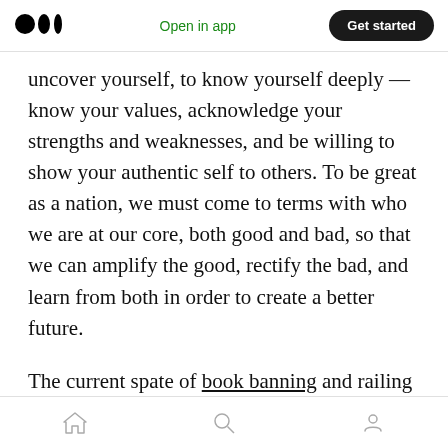Medium logo | Open in app | Get started
uncover yourself, to know yourself deeply — know your values, acknowledge your strengths and weaknesses, and be willing to show your authentic self to others. To be great as a nation, we must come to terms with who we are at our core, both good and bad, so that we can amplify the good, rectify the bad, and learn from both in order to create a better future.
The current spate of book banning and railing against Critical Race Theory is baldly an effort by white supremacists to keep students from
Home | Search | Profile